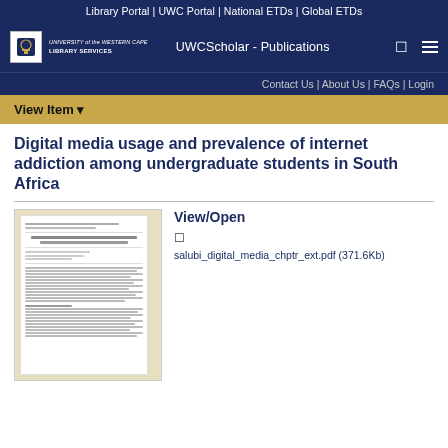Library Portal | UWC Portal | National ETDs | Global ETDs
[Figure (screenshot): UWC Library Services logo with crest icon and text 'UNIVERSITY of the WESTERN CAPE LIBRARY SERVICES']
UWCScholar - Publications
Contact Us | About Us | FAQs | Login
View Item ▾
Digital media usage and prevalence of internet addiction among undergraduate students in South Africa
[Figure (screenshot): Preview thumbnail of the document page showing title and body text of the paper 'Digital Media Usage and Prevalence of Internet Addiction among Undergraduate Students in South Africa']
View/Open
salubi_digital_media_chptr_ext.pdf (371.6Kb)